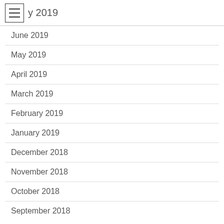y 2019
June 2019
May 2019
April 2019
March 2019
February 2019
January 2019
December 2018
November 2018
October 2018
September 2018